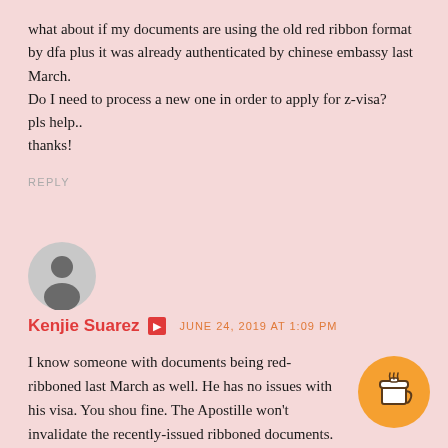what about if my documents are using the old red ribbon format by dfa plus it was already authenticated by chinese embassy last March.
Do I need to process a new one in order to apply for z-visa?
pls help..
thanks!
REPLY
[Figure (illustration): Circular avatar with silhouette of a person, gray background]
Kenjie Suarez  [icon]  JUNE 24, 2019 AT 1:09 PM
I know someone with documents being red-ribboned last March as well. He has no issues with his visa. You shou fine. The Apostille won't invalidate the recently-issued ribboned documents.
[Figure (illustration): Orange circular coffee cup button in the bottom right corner]